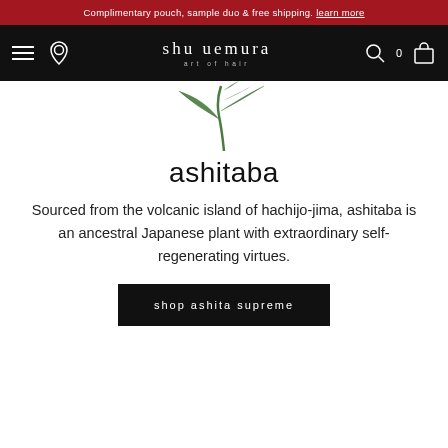Complimentary pouch, sample duo & free shipping. learn more
[Figure (logo): Shu Uemura Art of Hair brand logo with hamburger menu, location pin, search icon, and bag icon on black navigation bar]
[Figure (illustration): Ashitaba plant with green leaves, cropped, shown from below against white background]
ashitaba
Sourced from the volcanic island of hachijo-jima, ashitaba is an ancestral Japanese plant with extraordinary self-regenerating virtues.
shop ashita supreme